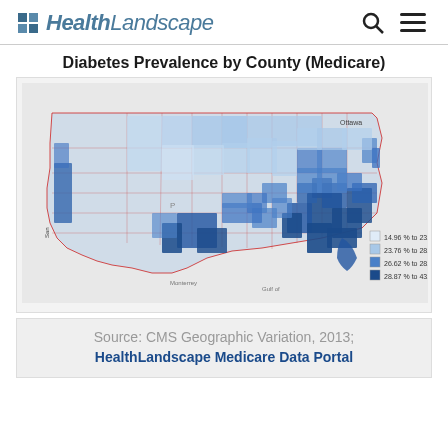HealthLandscape
Diabetes Prevalence by County (Medicare)
[Figure (map): Choropleth map of the United States showing Diabetes Prevalence by County (Medicare). Counties are shaded in four ranges: 14.96% to 23.71% (lightest), 23.76% to 28.59%, 26.62% to 28.85%, and 28.87% to 43.95% (darkest blue). Darker shading concentrated in the Southeast and parts of Texas/Southwest, lighter shading in the Midwest/Northern Plains and West.]
Source: CMS Geographic Variation, 2013; HealthLandscape Medicare Data Portal